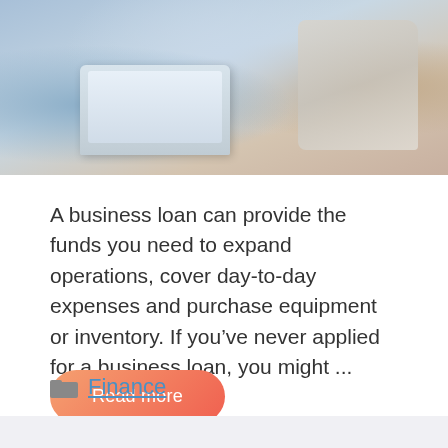[Figure (photo): Photo of two people working at a desk with a laptop, papers, pencils, and folded fabric/clothing items in the background.]
A business loan can provide the funds you need to expand operations, cover day-to-day expenses and purchase equipment or inventory. If you've never applied for a business loan, you might ...
Read more
Finance